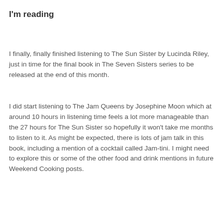I'm reading
I finally, finally finished listening to The Sun Sister by Lucinda Riley, just in time for the final book in The Seven Sisters series to be released at the end of this month.
I did start listening to The Jam Queens by Josephine Moon which at around 10 hours in listening time feels a lot more manageable than the 27 hours for The Sun Sister so hopefully it won't take me months to listen to it. As might be expected, there is lots of jam talk in this book, including a mention of a cocktail called Jam-tini. I might need to explore this or some of the other food and drink mentions in future Weekend Cooking posts.